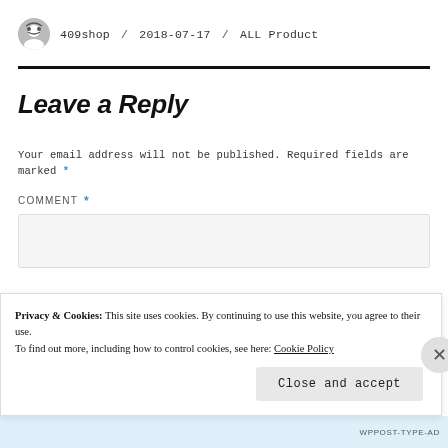409shop / 2018-07-17 / ALL Product
Leave a Reply
Your email address will not be published. Required fields are marked *
COMMENT *
Privacy & Cookies: This site uses cookies. By continuing to use this website, you agree to their use.
To find out more, including how to control cookies, see here: Cookie Policy
Close and accept